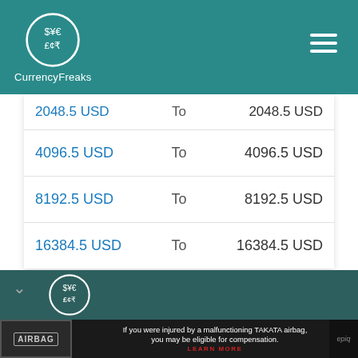CurrencyFreaks
| From |  | To |
| --- | --- | --- |
| 2048.5 USD | To | 2048.5 USD |
| 4096.5 USD | To | 4096.5 USD |
| 8192.5 USD | To | 8192.5 USD |
| 16384.5 USD | To | 16384.5 USD |